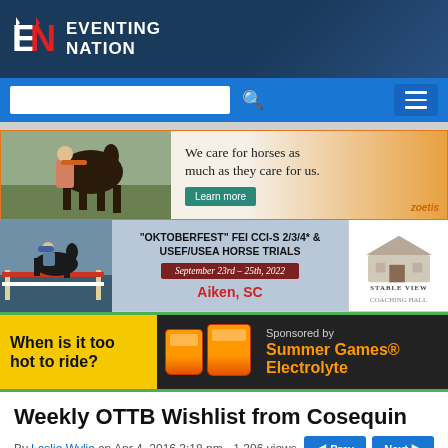[Figure (logo): Eventing Nation logo with EN initials and site name]
[Figure (screenshot): Search bar and navigation menu button on blue background]
[Figure (infographic): Zoetis advertisement banner: horse and rider photo with text 'We care for horses as much as they care for us.' and Learn more button]
[Figure (infographic): Oktoberfest FEI CCI-S 2/3/4* & USEF/USEA Horse Trials event banner, September 23rd-25th, 2022, Aiken SC, with Stable View logo]
[Figure (infographic): Summer Games Electrolyte sponsored advertisement: 'When is it too hot to ride?' on yellow/black background]
Weekly OTTB Wishlist from Cosequin
By Leslie Wylie on Apr 4, 2016 3:18 pm - 1,306 views